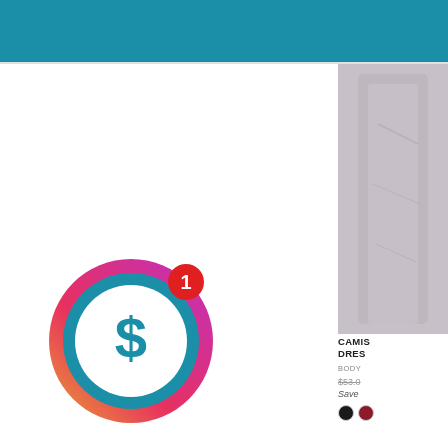[Figure (other): Teal/blue header navigation bar at the top of a retail website]
[Figure (illustration): Circular icon with gradient border (orange to pink to magenta), teal circle interior with white dollar sign symbol, and a red notification badge showing the number 1]
[Figure (photo): Partial product photo of a camisole dress on a model, cropped on the right side of the page]
CAMIS... DRES...
BODY ...
$53.0...
Save...